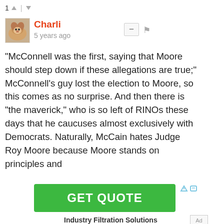1 ↑ | ↓
[Figure (photo): Small avatar image of a Cavalier King Charles Spaniel dog]
Charli
5 years ago
−
⚑
"McConnell was the first, saying that Moore should step down if these allegations are true;" McConnell's guy lost the election to Moore, so this comes as no surprise. And then there is "the maverick," who is so left of RINOs these days that he caucuses almost exclusively with Democrats. Naturally, McCain hates Judge Roy Moore because Moore stands on principles and
[Figure (infographic): Green GET QUOTE advertisement button]
▷ ✕
Industry Filtration Solutions
Ad